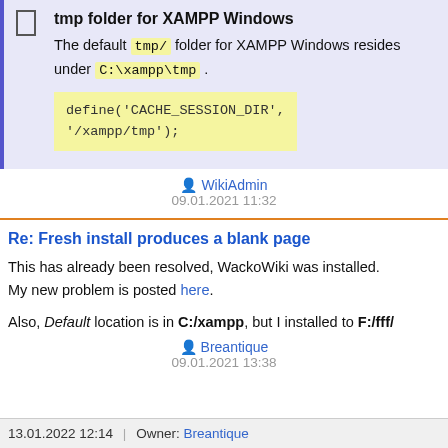tmp folder for XAMPP Windows
The default tmp/ folder for XAMPP Windows resides under C:\xampp\tmp .
define('CACHE_SESSION_DIR', '/xampp/tmp');
WikiAdmin
09.01.2021 11:32
Re: Fresh install produces a blank page
This has already been resolved, WackoWiki was installed. My new problem is posted here.
Also, Default location is in C:/xampp, but I installed to F:/fff/
Breantique
09.01.2021 13:38
13.01.2022 12:14  |  Owner: Breantique